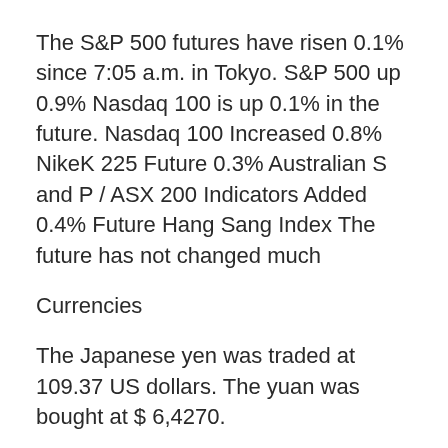The S&P 500 futures have risen 0.1% since 7:05 a.m. in Tokyo. S&P 500 up 0.9% Nasdaq 100 is up 0.1% in the future. Nasdaq 100 Increased 0.8% NikeK 225 Future 0.3% Australian S and P / ASX 200 Indicators Added 0.4% Future Hang Sang Index The future has not changed much
Currencies
The Japanese yen was traded at 109.37 US dollars. The yuan was bought at $ 6,4270.
Bonds
Production on 10-year stocks rose two base points to 1.30%